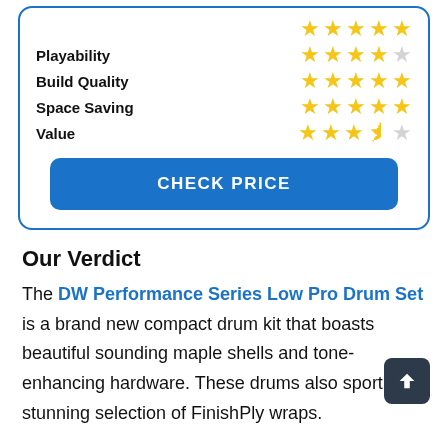| Category | Rating |
| --- | --- |
| Playability | 4/5 |
| Build Quality | 5/5 |
| Space Saving | 5/5 |
| Value | 3.5/5 |
CHECK PRICE
Our Verdict
The DW Performance Series Low Pro Drum Set is a brand new compact drum kit that boasts beautiful sounding maple shells and tone-enhancing hardware. These drums also sport stunning selection of FinishPly wraps.